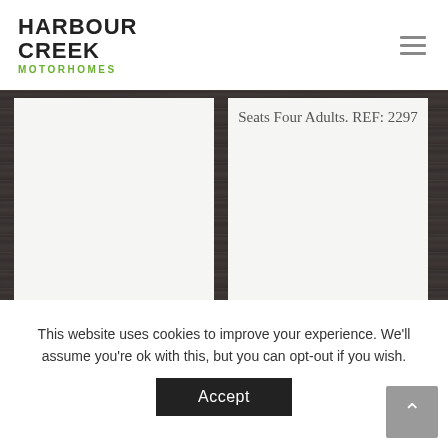HARBOUR CREEK MOTORHOMES
[Figure (screenshot): Two product listing cards on a dark wood-textured background. Left card is blank/image area. Right card shows partial product title 'Seats Four Adults. REF: 2297'. Left card price: £19,932. Right card price: £19,603. A partial button outline is visible at the bottom.]
This website uses cookies to improve your experience. We'll assume you're ok with this, but you can opt-out if you wish.
Accept